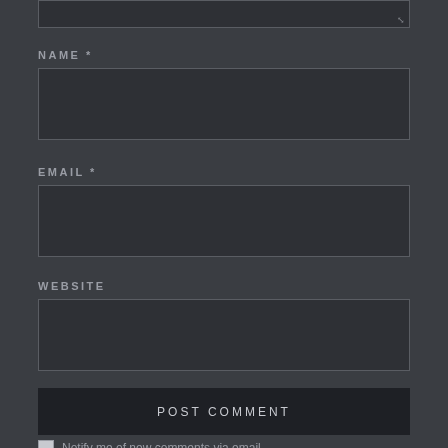[Figure (screenshot): Comment form showing fields: NAME*, EMAIL*, WEBSITE, POST COMMENT button, and a checkbox for 'Notify me of new comments via email.' on a dark background.]
NAME *
EMAIL *
WEBSITE
POST COMMENT
Notify me of new comments via email.